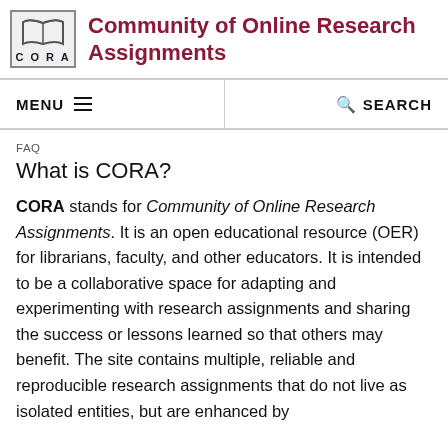Community of Online Research Assignments
MENU   SEARCH
FAQ
What is CORA?
CORA stands for Community of Online Research Assignments. It is an open educational resource (OER) for librarians, faculty, and other educators. It is intended to be a collaborative space for adapting and experimenting with research assignments and sharing the success or lessons learned so that others may benefit. The site contains multiple, reliable and reproducible research assignments that do not live as isolated entities, but are enhanced by